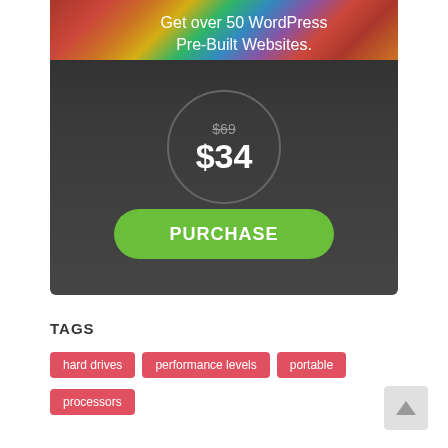[Figure (screenshot): Dark promotional banner for WordPress Pre-Built Websites. Shows colorful books/magazine strip at top, headline text 'Get over 50 WordPress Pre-Built Websites.', a circular price badge showing $69 struck through and $34 in white, and a green pill-shaped PURCHASE button.]
TAGS
hard drives
performance levels
portable
processors